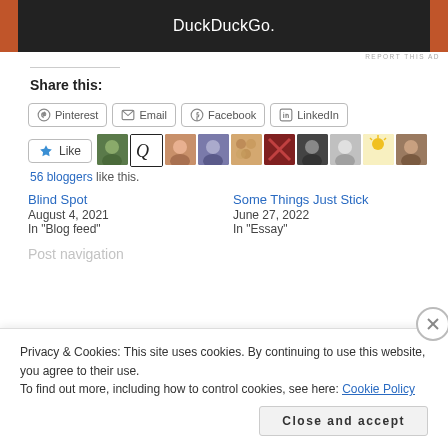[Figure (screenshot): DuckDuckGo advertisement banner, dark background with orange side panels and white DuckDuckGo. text]
REPORT THIS AD
Share this:
Pinterest  Email  Facebook  LinkedIn (share buttons)
[Figure (infographic): Like button with star icon and a row of 10 blogger avatar thumbnails]
56 bloggers like this.
Blind Spot
August 4, 2021
In "Blog feed"
Some Things Just Stick
June 27, 2022
In "Essay"
Post navigation (partially visible)
Privacy & Cookies: This site uses cookies. By continuing to use this website, you agree to their use.
To find out more, including how to control cookies, see here: Cookie Policy
Close and accept